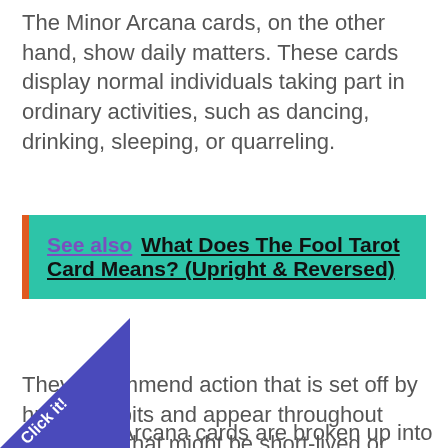The Minor Arcana cards, on the other hand, show daily matters. These cards display normal individuals taking part in ordinary activities, such as dancing, drinking, sleeping, or quarreling.
See also  What Does The Fool Tarot Card Means? (Upright & Reversed)
They recommend action that is set off by human habits and appear throughout mild shifts that might be short-lived or have just small impact.
or Arcana cards are broken up into 4